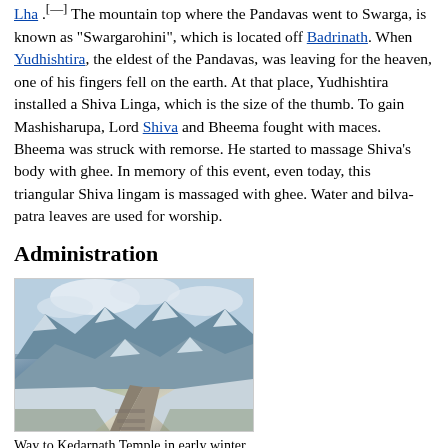Lha .[—] The mountain top where the Pandavas went to Swarga, is known as "Swargarohini", which is located off Badrinath. When Yudhishtira, the eldest of the Pandavas, was leaving for the heaven, one of his fingers fell on the earth. At that place, Yudhishtira installed a Shiva Linga, which is the size of the thumb. To gain Mashisharupa, Lord Shiva and Bheema fought with maces. Bheema was struck with remorse. He started to massage Shiva's body with ghee. In memory of this event, even today, this triangular Shiva lingam is massaged with ghee. Water and bilva-patra leaves are used for worship.
Administration
[Figure (photo): A stone path leading through a snowy mountain landscape, way to Kedarnath Temple in early winter. Snow-covered peaks visible in the background under a partly cloudy sky.]
Way to Kedarnath Temple in early winter
The temple was included in the Uttar Pradesh State Government